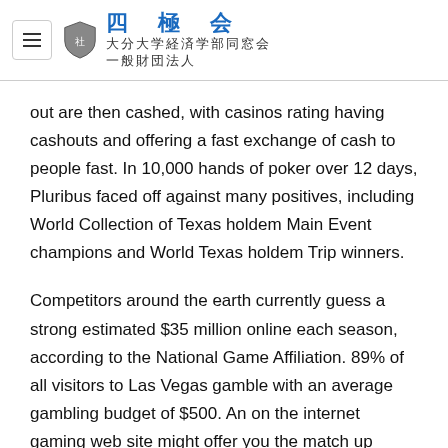四極会 大分大学経済学部同窓会 一般財団法人
out are then cashed, with casinos rating having cashouts and offering a fast exchange of cash to people fast. In 10,000 hands of poker over 12 days, Pluribus faced off against many positives, including World Collection of Texas holdem Main Event champions and World Texas holdem Trip winners.
Competitors around the earth currently guess a strong estimated $35 million online each season, according to the National Game Affiliation. 89% of all visitors to Las Vegas gamble with an average gambling budget of $500. An on the internet gaming web site might offer you the match up down payment reward. The Online Roulette Power Roulettefun.Stone rough outdoors position zoo, rough